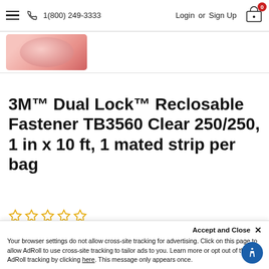1(800) 249-3333  Login or Sign Up  0
[Figure (photo): Product image strip showing a partial view of 3M Dual Lock product with pink/red curved shape visible]
3M™ Dual Lock™ Reclosable Fastener TB3560 Clear 250/250, 1 in x 10 ft, 1 mated strip per bag
[Figure (other): 5 empty star rating icons in gold/yellow outline]
Part #: TB3560
Accept and Close ×
Your browser settings do not allow cross-site tracking for advertising. Click on this page to allow AdRoll to use cross-site tracking to tailor ads to you. Learn more or opt out of this AdRoll tracking by clicking here. This message only appears once.